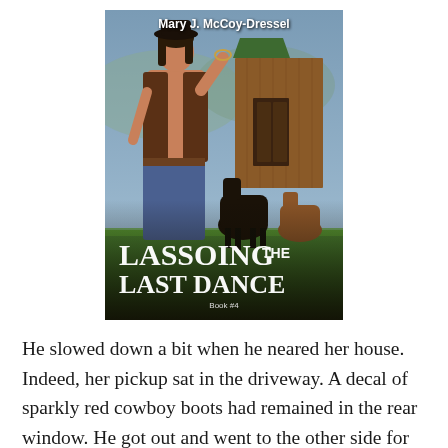[Figure (illustration): Book cover for 'Lassoing the Last Dance, Book #4' by Mary J. McCoy-Dressel. Features a shirtless cowboy in a hat standing in front of a barn with two horses.]
He slowed down a bit when he neared her house. Indeed, her pickup sat in the driveway. A decal of sparkly red cowboy boots had remained in the rear window. He got out and went to the other side for the basket, but now the idea seemed silly again. He left it. Albeit, he trudged up